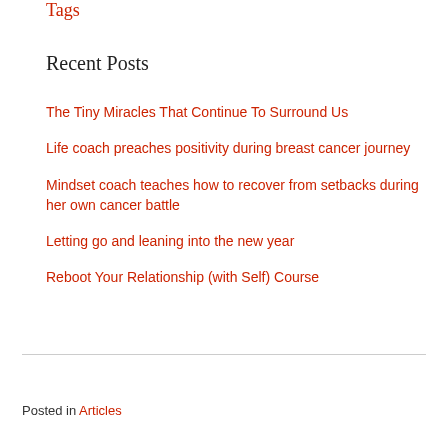Tags
Recent Posts
The Tiny Miracles That Continue To Surround Us
Life coach preaches positivity during breast cancer journey
Mindset coach teaches how to recover from setbacks during her own cancer battle
Letting go and leaning into the new year
Reboot Your Relationship (with Self) Course
Posted in Articles